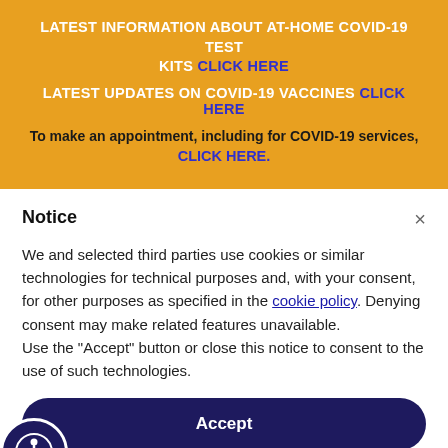LATEST INFORMATION ABOUT AT-HOME COVID-19 TEST KITS CLICK HERE
LATEST UPDATES ON COVID-19 VACCINES CLICK HERE
To make an appointment, including for COVID-19 services, CLICK HERE.
Notice
We and selected third parties use cookies or similar technologies for technical purposes and, with your consent, for other purposes as specified in the cookie policy. Denying consent may make related features unavailable.
Use the “Accept” button or close this notice to consent to the use of such technologies.
Accept
Learn more and customize